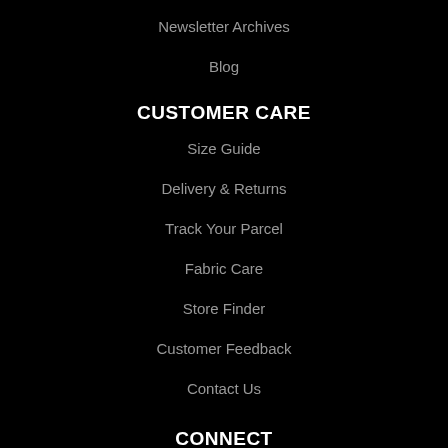Newsletter Archives
Blog
CUSTOMER CARE
Size Guide
Delivery & Returns
Track Your Parcel
Fabric Care
Store Finder
Customer Feedback
Contact Us
CONNECT
[Figure (infographic): Social media icons: Facebook (blue circle with f), Twitter (cyan circle with bird), Pinterest (red circle with P), Instagram (grey circle with camera)]